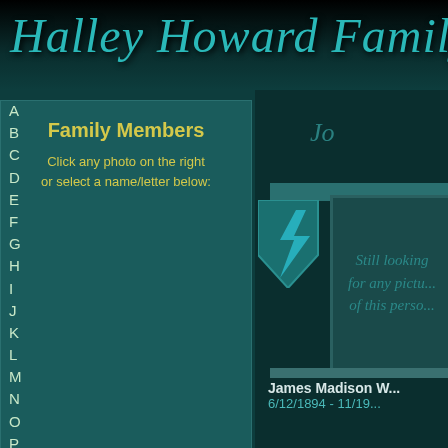Halley Howard Family Ph...
Family Members
Click any photo on the right
or select a name/letter below:
A
B
C
D
E
F
G
H
I
J
K
L
M
N
O
P
[Figure (illustration): Teal bookmark/arrow shape pointing left, used as navigation element]
[Figure (photo): Photo placeholder showing italic text: Still looking for any picture of this person]
Jo...
James Madison W...
6/12/1894 - 11/19...